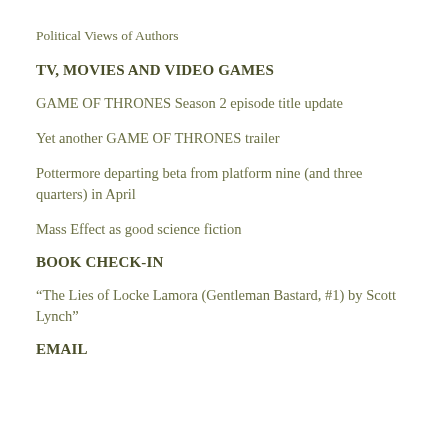Political Views of Authors
TV, MOVIES AND VIDEO GAMES
GAME OF THRONES Season 2 episode title update
Yet another GAME OF THRONES trailer
Pottermore departing beta from platform nine (and three quarters) in April
Mass Effect as good science fiction
BOOK CHECK-IN
“The Lies of Locke Lamora (Gentleman Bastard, #1) by Scott Lynch”
EMAIL